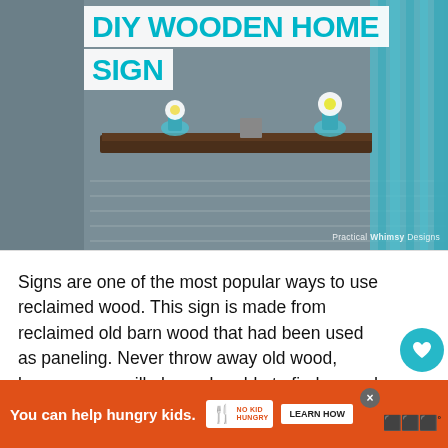[Figure (photo): Photo of a wooden floating shelf on a white stone/brick wall with teal/cyan curtains on the right side, decorated with flowers and vases]
DIY WOODEN HOME SIGN
Signs are one of the most popular ways to use reclaimed wood. This sign is made from reclaimed old barn wood that had been used as paneling. Never throw away old wood, because you will always be able to find a good use for it!
Continue Reading
844
[Figure (infographic): Orange advertisement banner: 'You can help hungry kids.' with No Kid Hungry logo and LEARN HOW button]